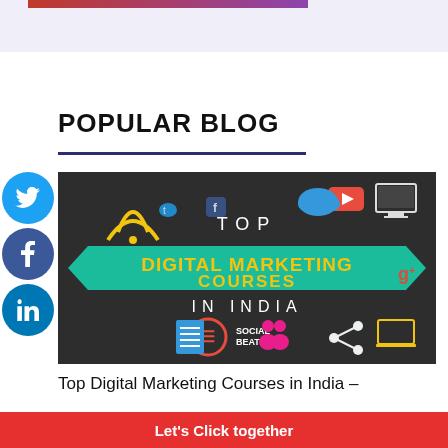POPULAR BLOG
[Figure (illustration): Promotional graphic for 'Top Digital Marketing Courses in India' by Social Beat, dark chalkboard background with social media icons, teal ribbon banner, colorful text]
Top Digital Marketing Courses in India –
Let's Click together